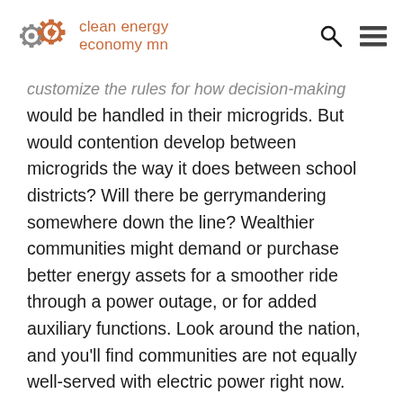clean energy economy mn
customize the rules for how decision-making would be handled in their microgrids. But would contention develop between microgrids the way it does between school districts? Will there be gerrymandering somewhere down the line? Wealthier communities might demand or purchase better energy assets for a smoother ride through a power outage, or for added auxiliary functions. Look around the nation, and you'll find communities are not equally well-served with electric power right now.